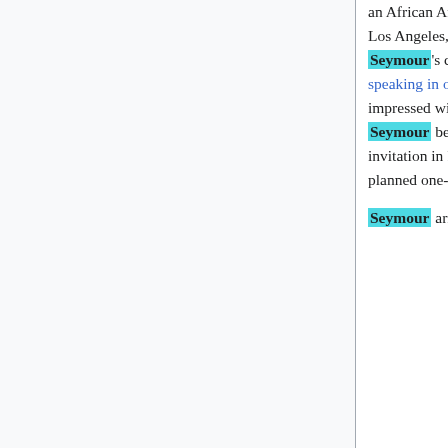an African American woman who attended a small holiness church pastored by Julia Hutchins in Los Angeles, made a trip to visit family in Houston late in 1905.[8] While in Houston, she visited Seymour's church, where he preached on receiving the Holy Spirit with the evidence of speaking in other tongues, and though he had not experienced this personally, Terry was impressed with his character and message. Once home in California, Terry suggested that Seymour be invited to speak at the local church.[9] Seymour received and accepted the invitation in February 1906, and he received financial help and a blessing from Parham for his planned one-month visit.[8][10]
Seymour arrived in Los Angeles on February 22, 1906,[11][12][13] and within